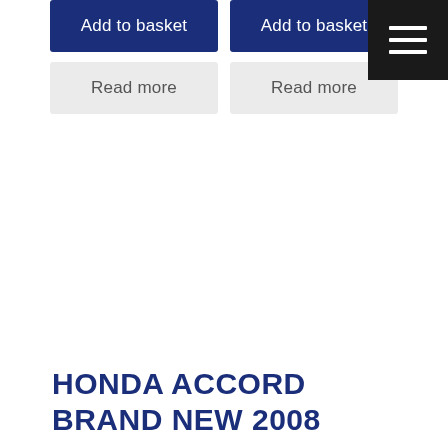Add to basket
Add to basket
Read more
Read more
HONDA ACCORD BRAND NEW 2008